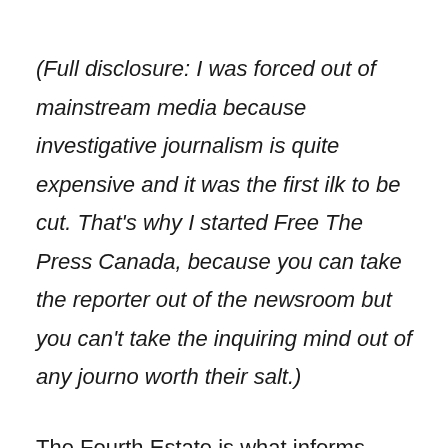(Full disclosure: I was forced out of mainstream media because investigative journalism is quite expensive and it was the first ilk to be cut. That's why I started Free The Press Canada, because you can take the reporter out of the newsroom but you can't take the inquiring mind out of any journo worth their salt.)
The Fourth Estate is what informs governments in any democracy, while holding lawmakers to account. That this bat guano information was always available is proof that